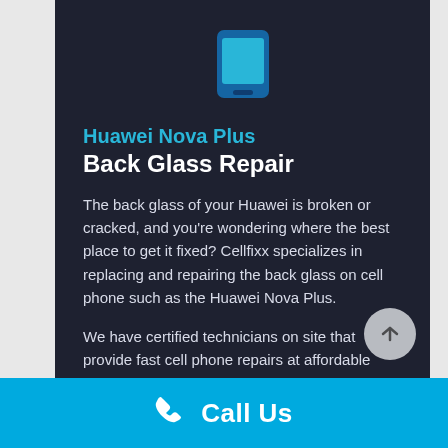[Figure (illustration): Blue smartphone icon centered at top of dark card]
Huawei Nova Plus Back Glass Repair
The back glass of your Huawei is broken or cracked, and you're wondering where the best place to get it fixed? Cellfixx specializes in replacing and repairing the back glass on cell phone such as the Huawei Nova Plus.
We have certified technicians on site that provide fast cell phone repairs at affordable rates for your Huawei.
Call Us